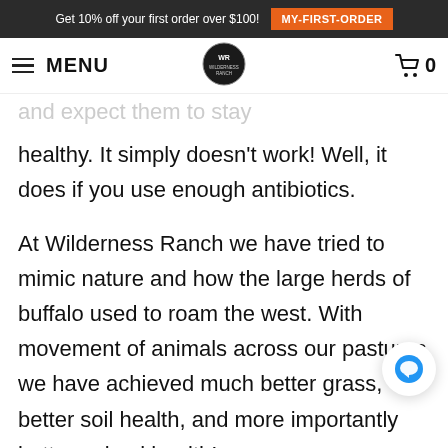Get 10% off your first order over $100! MY-FIRST-ORDER
MENU [Wilderness Ranch logo] 0
and expect them to stay healthy. It simply doesn't work! Well, it does if you use enough antibiotics.

At Wilderness Ranch we have tried to mimic nature and how the large herds of buffalo used to roam the west. With movement of animals across our pastures we have achieved much better grass, better soil health, and more importantly better animal health!
To Recap: